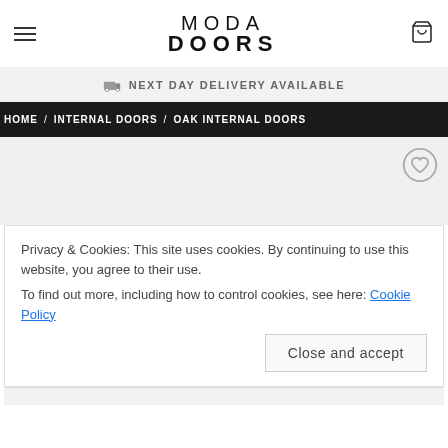MODA DOORS
NEXT DAY DELIVERY AVAILABLE
HOME / INTERNAL DOORS / OAK INTERNAL DOORS
[Figure (other): Product image area with heart/wishlist button]
Privacy & Cookies: This site uses cookies. By continuing to use this website, you agree to their use.
To find out more, including how to control cookies, see here: Cookie Policy
Close and accept